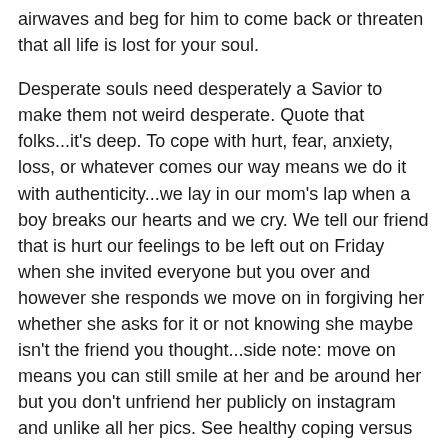airwaves and beg for him to come back or threaten that all life is lost for your soul.
Desperate souls need desperately a Savior to make them not weird desperate. Quote that folks...it's deep. To cope with hurt, fear, anxiety, loss, or whatever comes our way means we do it with authenticity...we lay in our mom's lap when a boy breaks our hearts and we cry. We tell our friend that is hurt our feelings to be left out on Friday when she invited everyone but you over and however she responds we move on in forgiving her whether she asks for it or not knowing she maybe isn't the friend you thought...side note: move on means you can still smile at her and be around her but you don't unfriend her publicly on instagram and unlike all her pics. See healthy coping versus unhealthy.
Please know I am not speaking to deep hurt from sexual abuse, loss of a parent, or deep scars. I worry that this generation puts not getting 200 likes on their new profile pic in the same category of these deep wounds because of the coping issue in our world. I always tell folks I think we all need some good counseling (not like the weird life coach stuff, but rather the actual betterment of a healthy mind...